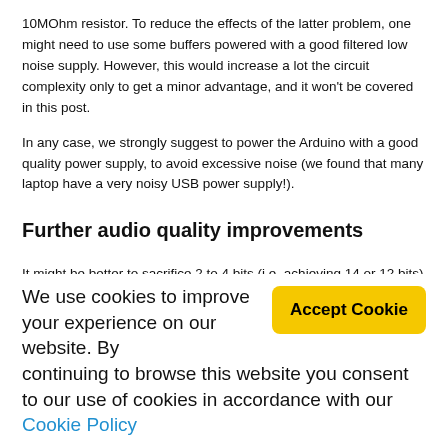10MOhm resistor. To reduce the effects of the latter problem, one might need to use some buffers powered with a good filtered low noise supply. However, this would increase a lot the circuit complexity only to get a minor advantage, and it won't be covered in this post.

In any case, we strongly suggest to power the Arduino with a good quality power supply, to avoid excessive noise (we found that many laptop have a very noisy USB power supply!).
Further audio quality improvements
It might be better to sacrifice 2 to 4 bits (i.e. achieving 14 or 12 bits) and use lower duty cycle values. In some cases, despite the reduced number of bits, this would improve the audio quality. Of course the ratio of the resistors should be adjusted accordingly.
We use cookies to improve your experience on our website. By continuing to browse this website you consent to our use of cookies in accordance with our Cookie Policy